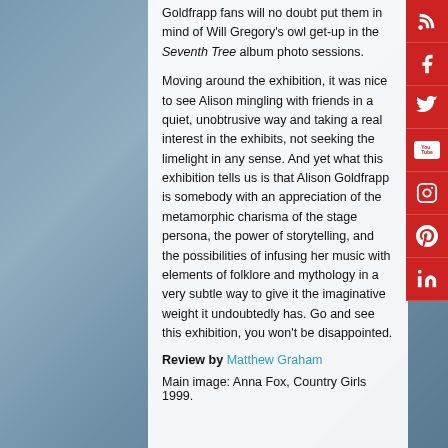Goldfrapp fans will no doubt put them in mind of Will Gregory's owl get-up in the Seventh Tree album photo sessions.
Moving around the exhibition, it was nice to see Alison mingling with friends in a quiet, unobtrusive way and taking a real interest in the exhibits, not seeking the limelight in any sense. And yet what this exhibition tells us is that Alison Goldfrapp is somebody with an appreciation of the metamorphic charisma of the stage persona, the power of storytelling, and the possibilities of infusing her music with elements of folklore and mythology in a very subtle way to give it the imaginative weight it undoubtedly has. Go and see this exhibition, you won't be disappointed.
Review by Matthew Graham
Main image: Anna Fox, Country Girls 1999.